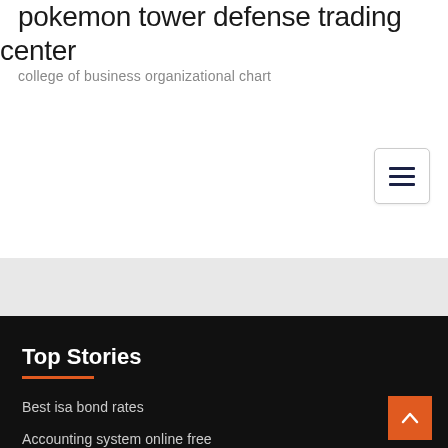pokemon tower defense trading center
college of business organizational chart
[Figure (other): Hamburger menu button with three horizontal lines]
Top Stories
Best isa bond rates
Accounting system online free
Most successful stock traders of all time